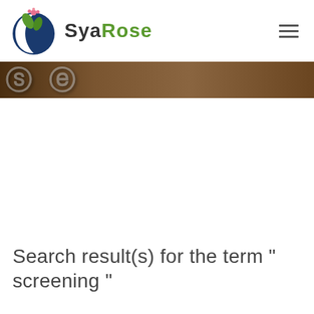SyaRose
[Figure (photo): Dark brown hero banner strip with partially visible large letterforms]
Search result(s) for the term " screening "